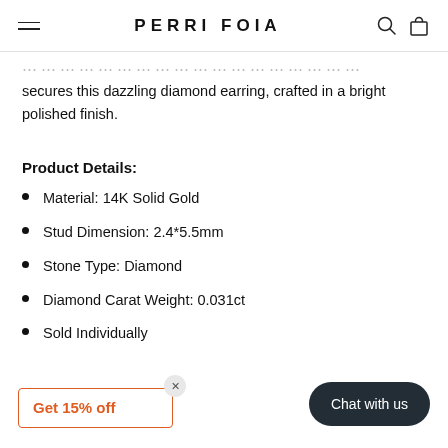PERRI FOIA
secures this dazzling diamond earring, crafted in a bright polished finish.
Product Details:
Material: 14K Solid Gold
Stud Dimension: 2.4*5.5mm
Stone Type: Diamond
Diamond Carat Weight: 0.031ct
Sold Individually
Get 15% off
Chat with us